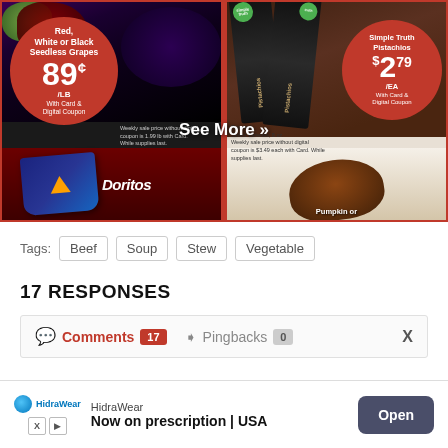[Figure (photo): Grocery store ad showing two deals: Red, White or Black Seedless Grapes at 89¢/LB with Card & Digital Coupon on the left, and Simple Truth Pistachios at $2.79/EA with Card & Digital Coupon on the right. Bottom shows Doritos bag and 'See More »' overlay, with a pumpkin roll image on bottom right. Small print disclaimers visible.]
Tags: Beef  Soup  Stew  Vegetable
17 RESPONSES
Comments 17   Pingbacks 0   X
[Figure (photo): HidraWear advertisement banner: logo with blue circle, 'HidraWear' brand name, tagline 'Now on prescription | USA', Open button in dark blue-gray, with X and play ad badges.]